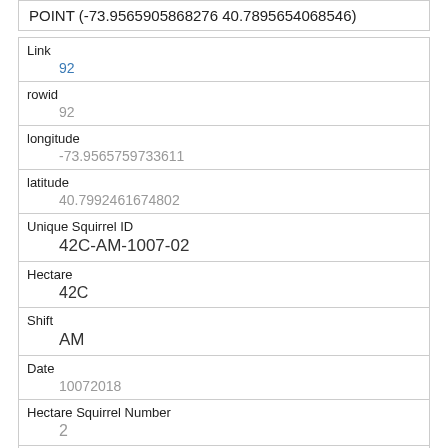POINT (-73.9565905868276 40.7895654068546)
| Link | 92 |
| rowid | 92 |
| longitude | -73.9565759733611 |
| latitude | 40.7992461674802 |
| Unique Squirrel ID | 42C-AM-1007-02 |
| Hectare | 42C |
| Shift | AM |
| Date | 10072018 |
| Hectare Squirrel Number | 2 |
| Age |  |